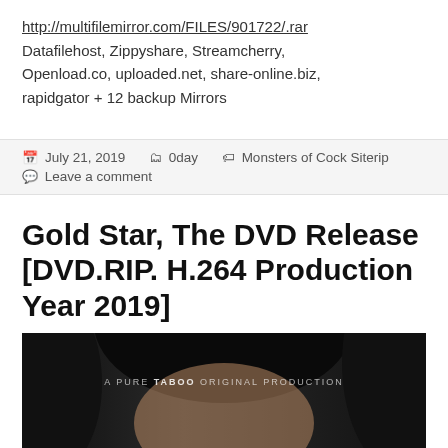http://multifilemirror.com/FILES/901722/.rar
Datafilehost, Zippyshare, Streamcherry, Openload.co, uploaded.net, share-online.biz, rapidgator + 12 backup Mirrors
July 21, 2019   0day   Monsters of Cock Siterip   Leave a comment
Gold Star, The DVD Release [DVD.RIP. H.264 Production Year 2019]
[Figure (photo): Screenshot from a video with text overlay 'A PURE TABOO ORIGINAL PRODUCTION' on dark background showing partial face with dark hair]